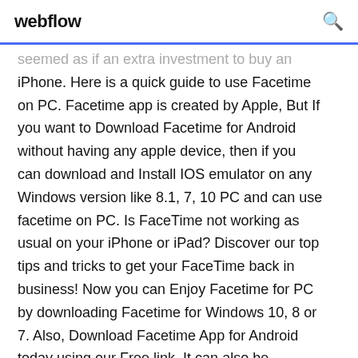webflow
seemed as if an extra investment to buy an iPhone. Here is a quick guide to use Facetime on PC. Facetime app is created by Apple, But If you want to Download Facetime for Android without having any apple device, then if you can download and Install IOS emulator on any Windows version like 8.1, 7, 10 PC and can use facetime on PC. Is FaceTime not working as usual on your iPhone or iPad? Discover our top tips and tricks to get your FaceTime back in business! Now you can Enjoy Facetime for PC by downloading Facetime for Windows 10, 8 or 7. Also, Download Facetime App for Android today using our Free link. It can also be downloaded from the play store and can be